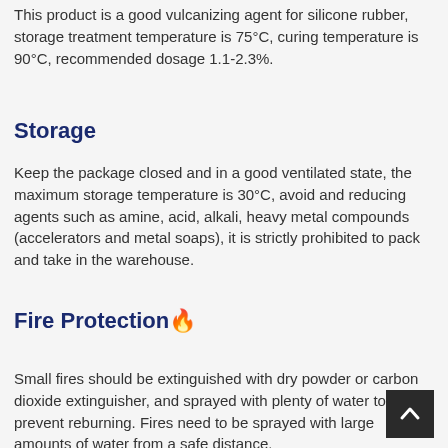This product is a good vulcanizing agent for silicone rubber, storage treatment temperature is 75°C, curing temperature is 90°C, recommended dosage 1.1-2.3%.
Storage
Keep the package closed and in a good ventilated state, the maximum storage temperature is 30°C, avoid and reducing agents such as amine, acid, alkali, heavy metal compounds (accelerators and metal soaps), it is strictly prohibited to pack and take in the warehouse.
Fire Protection🔥
Small fires should be extinguished with dry powder or carbon dioxide extinguisher, and sprayed with plenty of water to prevent reburning. Fires need to be sprayed with large amounts of water from a safe distance.